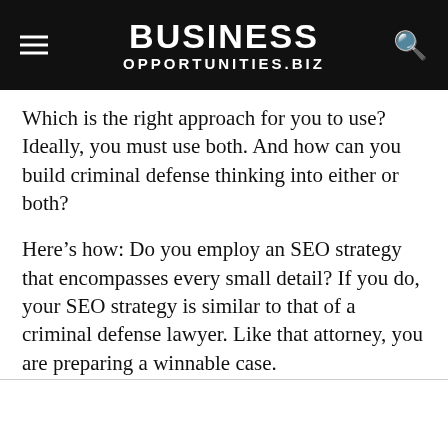BUSINESS OPPORTUNITIES.BIZ
Which is the right approach for you to use? Ideally, you must use both. And how can you build criminal defense thinking into either or both?
Here’s how: Do you employ an SEO strategy that encompasses every small detail? If you do, your SEO strategy is similar to that of a criminal defense lawyer. Like that attorney, you are preparing a winnable case.